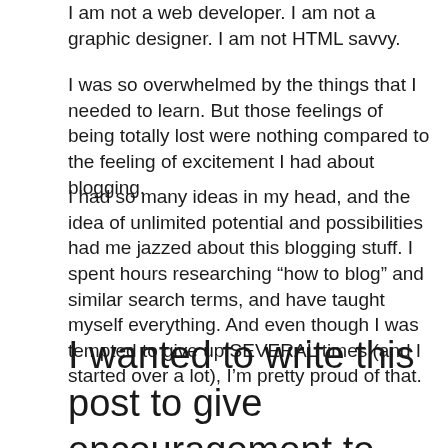I am not a web developer. I am not a graphic designer. I am not HTML savvy.
I was so overwhelmed by the things that I needed to learn. But those feelings of being totally lost were nothing compared to the feeling of excitement I had about blogging.
I had so many ideas in my head, and the idea of unlimited potential and possibilities had me jazzed about this blogging stuff. I spent hours researching “how to blog” and similar search terms, and have taught myself everything. And even though I was tempted to give up SEVERAL times (and I started over a lot), I’m pretty proud of that.
I wanted to write this post to give encouragement to people who are thinking about starting a blog or who are in the first few